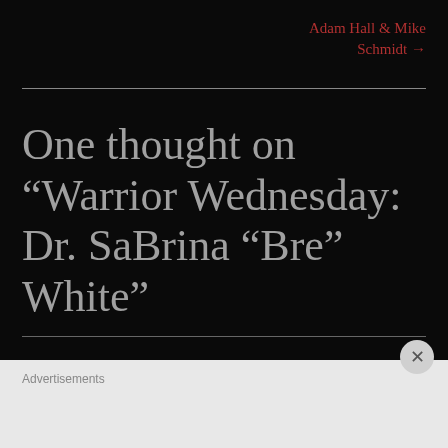Adam Hall & Mike Schmidt →
One thought on “Warrior Wednesday: Dr. SaBrina “Bre” White”
Advertisements